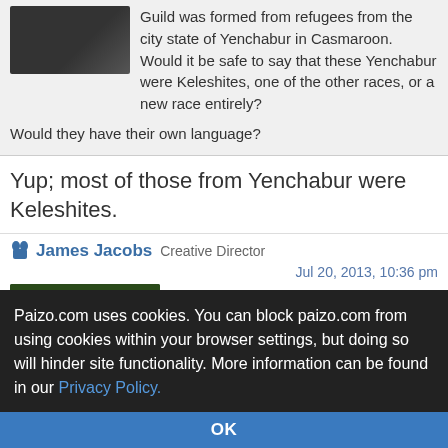Guild was formed from refugees from the city state of Yenchabur in Casmaroon. Would it be safe to say that these Yenchabur were Keleshites, one of the other races, or a new race entirely?
Would they have their own language?
Yup; most of those from Yenchabur were Keleshites.
James Jacobs Creative Director
Jul 20, 2013, 10:36 pm
Tels wrote:
1 person marked this as a favorite.
James Jacobs wrote:
Belle Mythix wrote:
Probably been asked before, but...
What would happen if someone cast Animate Object on a
Paizo.com uses cookies. You can block paizo.com from using cookies within your browser settings, but doing so will hinder site functionality. More information can be found in our Privacy Policy.
OK